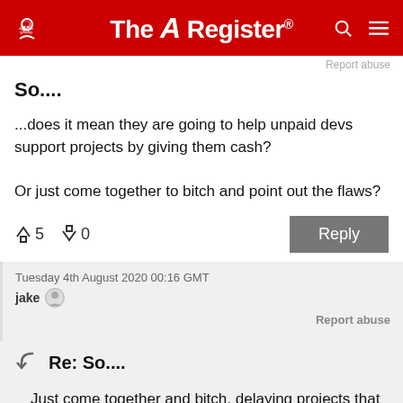The Register
Report abuse
So....
...does it mean they are going to help unpaid devs support projects by giving them cash?

Or just come together to bitch and point out the flaws?
Tuesday 4th August 2020 00:16 GMT
jake
Report abuse
Re: So....
Just come together and bitch, delaying projects that benefit the end-user for as long as possible, while rubber-stamping projects that benefit marketing would be my guess.